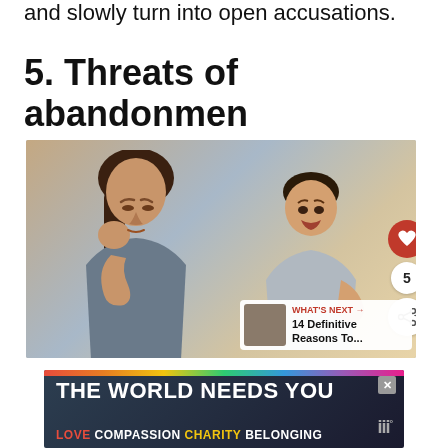and slowly turn into open accusations.
5. Threats of abandonmen
[Figure (photo): A woman covering her face in distress while a man gestures with his hands in the background, sitting on a couch in a living room. Social interaction buttons (heart, count 5, share) visible on the right. A 'What's Next' overlay shows '14 Definitive Reasons To...' with a thumbnail.]
[Figure (infographic): Advertisement banner with rainbow stripe, text 'THE WORLD NEEDS YOU' in white bold, subtext 'LOVE COMPASSION CHARITY BELONGING' in colored text on dark background. Small X close button top right. Logo bottom right.]